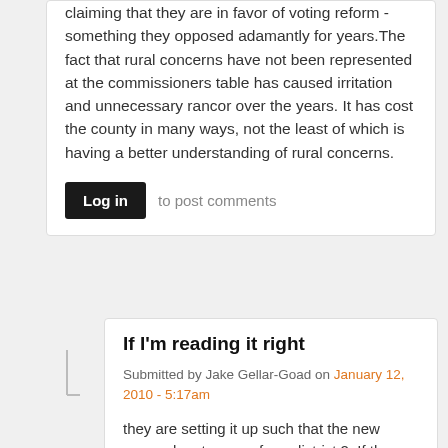claiming that they are in favor of voting reform - something they opposed adamantly for years.The fact that rural concerns have not been represented at the commissioners table has caused irritation and unnecessary rancor over the years. It has cost the county in many ways, not the least of which is having a better understanding of rural concerns.
Log in to post comments
If I'm reading it right
Submitted by Jake Gellar-Goad on January 12, 2010 - 5:17am
they are setting it up such that the new person has to come from district 2. If there